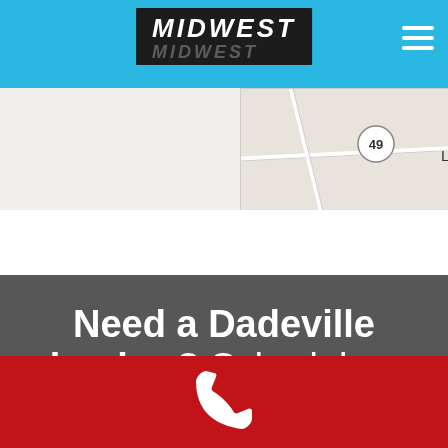MIDWEST
[Figure (map): Partial Google Maps screenshot showing route 49 near Langley F(ork area)]
Need a Dadeville plumber? Schedule an appointment today.
[Figure (illustration): White phone handset icon on red background bar]